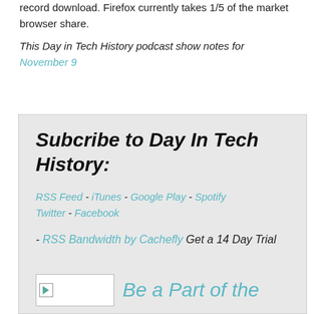record download. Firefox currently takes 1/5 of the market browser share.
This Day in Tech History podcast show notes for November 9
Subcribe to Day In Tech History:
RSS Feed - iTunes - Google Play - Spotify Twitter - Facebook
- RSS Bandwidth by Cachefly Get a 14 Day Trial
Be a Part of the